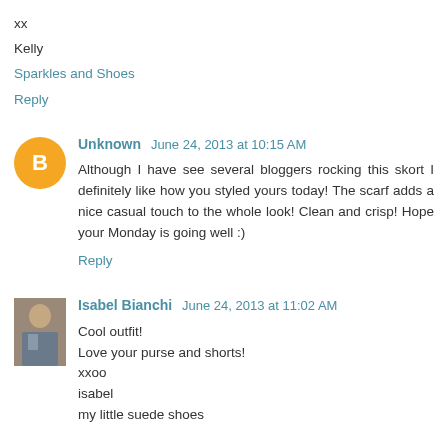xx
Kelly
Sparkles and Shoes
Reply
Unknown  June 24, 2013 at 10:15 AM
Although I have see several bloggers rocking this skort I definitely like how you styled yours today! The scarf adds a nice casual touch to the whole look! Clean and crisp! Hope your Monday is going well :)
Reply
Isabel Bianchi  June 24, 2013 at 11:02 AM
Cool outfit!
Love your purse and shorts!
xxoo
isabel
my little suede shoes